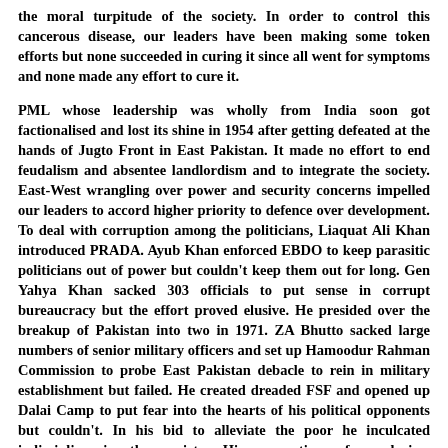the moral turpitude of the society. In order to control this cancerous disease, our leaders have been making some token efforts but none succeeded in curing it since all went for symptoms and none made any effort to cure it.
PML whose leadership was wholly from India soon got factionalised and lost its shine in 1954 after getting defeated at the hands of Jugto Front in East Pakistan. It made no effort to end feudalism and absentee landlordism and to integrate the society. East-West wrangling over power and security concerns impelled our leaders to accord higher priority to defence over development. To deal with corruption among the politicians, Liaquat Ali Khan introduced PRADA. Ayub Khan enforced EBDO to keep parasitic politicians out of power but couldn't keep them out for long. Gen Yahya Khan sacked 303 officials to put sense in corrupt bureaucracy but the effort proved elusive. He presided over the breakup of Pakistan into two in 1971. ZA Bhutto sacked large numbers of senior military officers and set up Hamoodur Rahman Commission to probe East Pakistan debacle to rein in military establishment but failed. He created dreaded FSF and opened up Dalai Camp to put fear into the hearts of his political opponents but couldn't. In his bid to alleviate the poor he inculcated indiscipline in the society. His promotion of secularism antagonized the Islamists and widened Islamic-secular divide.
In his bid to discipline the unruly Jayalas, Gen Ziaul Haq setup Qazi courts and whipped the offenders but it made little difference except for inculcating never ending hatred of the PPP against him. During his tenure religious extremism and sectarianism gathered pace due to